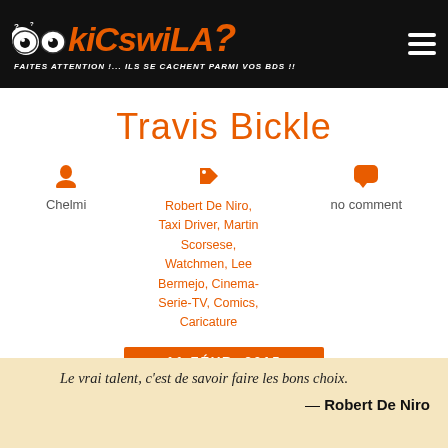kicswila? — Faites attention !... Ils se cachent parmi vos BDs !!
Travis Bickle
Chelmi
Robert De Niro, Taxi Driver, Martin Scorsese, Watchmen, Lee Bermejo, Cinema-Serie-TV, Comics, Caricature
no comment
11 FÉVR. 2015
Le vrai talent, c'est de savoir faire les bons choix. — Robert De Niro